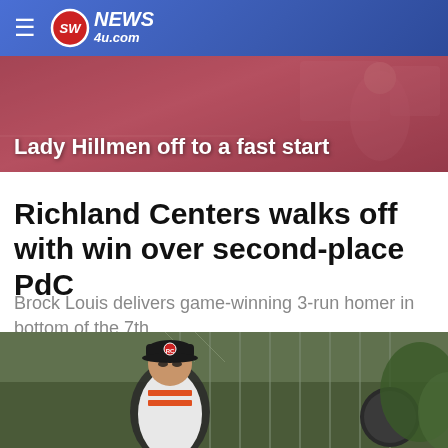SW NEWS 4U.com
[Figure (photo): Sports banner photo showing Lady Hillmen athlete with text overlay 'Lady Hillmen off to a fast start']
Richland Centers walks off with win over second-place PdC
Brock Louis delivers game-winning 3-run homer in bottom of the 7th
[Figure (photo): Baseball player wearing a cap with RC logo, in the field with chain link fence in background]